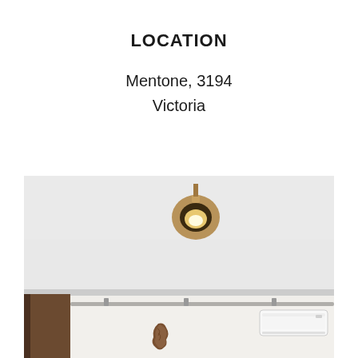LOCATION
Mentone, 3194
Victoria
[Figure (photo): Interior room photo showing a white ceiling with a round gold/wooden pendant light fixture, white walls, a dark wooden cabinet on the left, a split-system air conditioner on the right wall, and a wooden decorative piece hanging on the wall.]